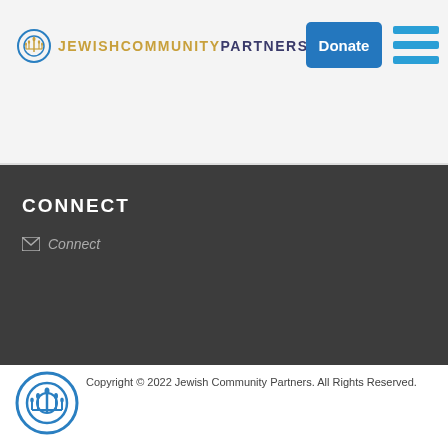JEWISH COMMUNITY PARTNERS — header with logo, Donate button, hamburger menu
CONNECT
✉ Connect
[Figure (logo): Jewish Community Partners circular logo with menorah and concentric rings, blue]
Copyright © 2022 Jewish Community Partners. All Rights Reserved.
Powered by FEDWEB ® Central
Privacy Policy
Terms of Use